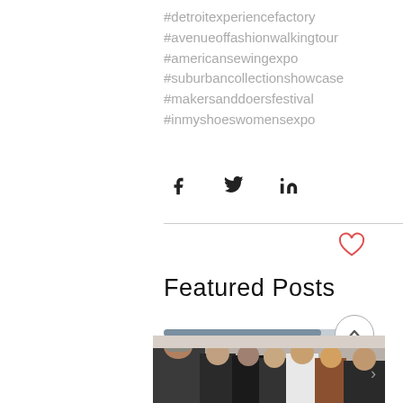#detroitexperiencefactory
#avenueoffashionwalkingtour
#americansewingexpo
#suburbancollectionshowcase
#makersanddoersfestival
#inmyshoeswomensexpo
[Figure (infographic): Social share icons: Facebook (f), Twitter bird, LinkedIn (in)]
[Figure (infographic): Heart (like) icon in red outline]
Featured Posts
[Figure (infographic): Progress/scroll bar showing position, with a circular scroll-to-top button with an upward chevron]
[Figure (photo): Group of women standing around a table looking at something, indoor setting, one woman wearing a grey beanie hat, others in dark clothing with one in white, a forward navigation arrow on the right edge]